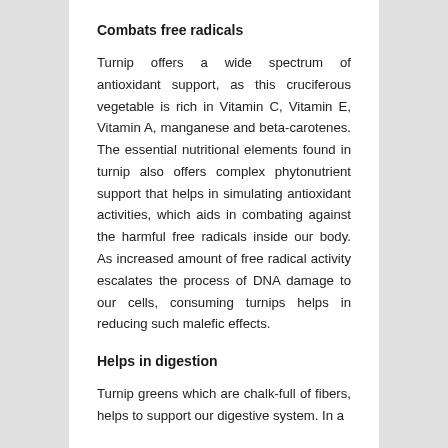Combats free radicals
Turnip offers a wide spectrum of antioxidant support, as this cruciferous vegetable is rich in Vitamin C, Vitamin E, Vitamin A, manganese and beta-carotenes. The essential nutritional elements found in turnip also offers complex phytonutrient support that helps in simulating antioxidant activities, which aids in combating against the harmful free radicals inside our body. As increased amount of free radical activity escalates the process of DNA damage to our cells, consuming turnips helps in reducing such malefic effects.
Helps in digestion
Turnip greens which are chalk-full of fibers, helps to support our digestive system. In a